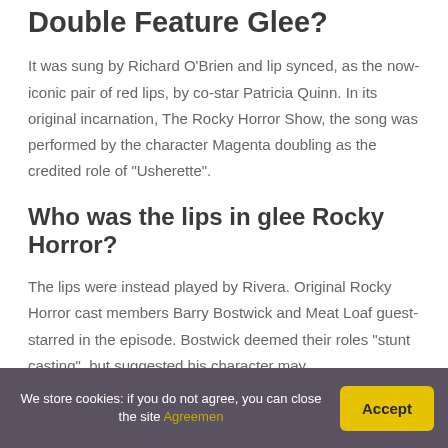Double Feature Glee?
It was sung by Richard O'Brien and lip synced, as the now-iconic pair of red lips, by co-star Patricia Quinn. In its original incarnation, The Rocky Horror Show, the song was performed by the character Magenta doubling as the credited role of “Usherette”.
Who was the lips in glee Rocky Horror?
The lips were instead played by Rivera. Original Rocky Horror cast members Barry Bostwick and Meat Loaf guest-starred in the episode. Bostwick deemed their roles “stunt casting”, but suggested his character may
We store cookies: if you do not agree, you can close the site Agreemen
Accept